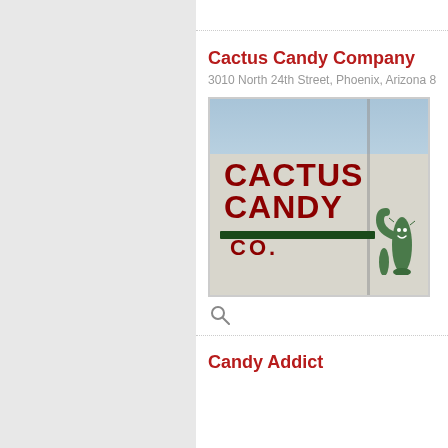Cactus Candy Company
3010 North 24th Street, Phoenix, Arizona 8
[Figure (photo): Exterior wall of Cactus Candy Co. building with painted sign reading CACTUS CANDY CO. in large red letters with a green cartoon cactus character. Blue sky visible at top.]
Candy Addict